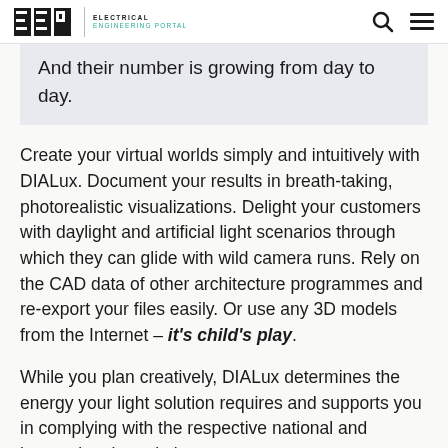EEP | ELECTRICAL ENGINEERING PORTAL
And their number is growing from day to day.
Create your virtual worlds simply and intuitively with DIALux. Document your results in breath-taking, photorealistic visualizations. Delight your customers with daylight and artificial light scenarios through which they can glide with wild camera runs. Rely on the CAD data of other architecture programmes and re-export your files easily. Or use any 3D models from the Internet – it's child's play.
While you plan creatively, DIALux determines the energy your light solution requires and supports you in complying with the respective national and international regulations.